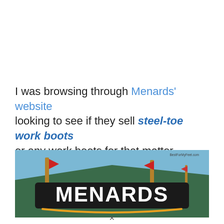I was browsing through Menards' website looking to see if they sell steel-toe work boots or any work boots for that matter.
[Figure (photo): Exterior photo of a Menards store showing the green building facade with the large white MENARDS sign and red flags on wooden poles, against a blue sky. Watermark reads BestForMyFeet.com]